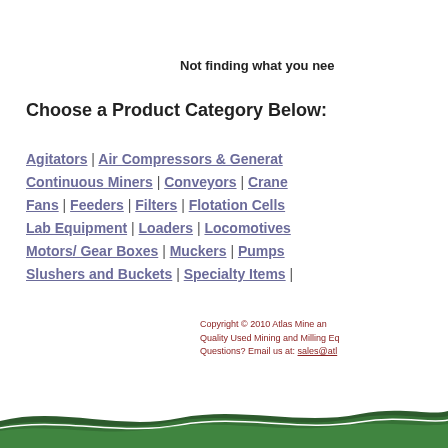Not finding what you nee
Choose a Product Category Below:
Agitators | Air Compressors & Generators | Continuous Miners | Conveyors | Cranes | Fans | Feeders | Filters | Flotation Cells | Lab Equipment | Loaders | Locomotives | Motors/ Gear Boxes | Muckers | Pumps | Slushers and Buckets | Specialty Items |
Copyright © 2010 Atlas Mine and Quality Used Mining and Milling Equipment. Questions? Email us at: sales@atlasmining.com